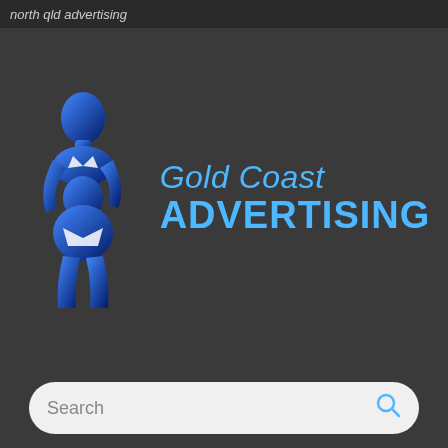north qld advertising
[Figure (logo): Gold Coast Advertising logo: a blue silhouette of a woman in a bikini next to blue text reading 'Gold Coast ADVERTISING']
Search